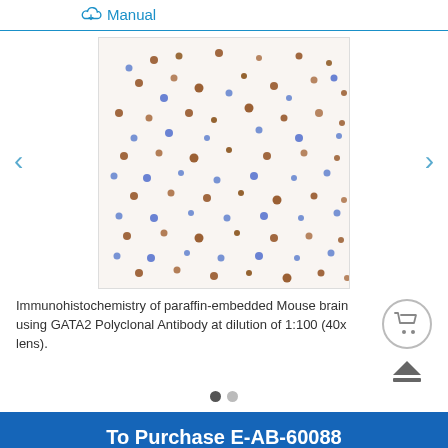Manual
[Figure (photo): Immunohistochemistry microscopy image of paraffin-embedded Mouse brain tissue showing scattered brown and blue stained cells on a light background]
Immunohistochemistry of paraffin-embedded Mouse brain using GATA2 Polyclonal Antibody at dilution of 1:100 (40x lens).
To Purchase E-AB-60088
Size: 60ul